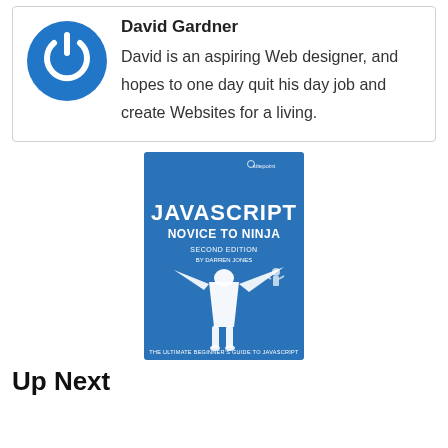David Gardner
David is an aspiring Web designer, and hopes to one day quit his day job and create Websites for a living.
[Figure (illustration): Blue circular power button icon]
[Figure (photo): Book cover: JavaScript Novice to Ninja, Second Edition by Darren Jones. Blue cover with ninja illustration. The ultimate beginner's guide to JavaScript. SitePoint publisher.]
Up Next